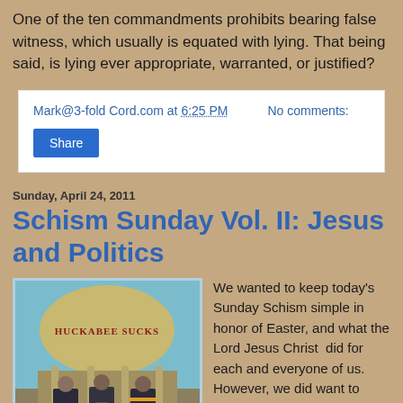One of the ten commandments prohibits bearing false witness, which usually is equated with lying. That being said, is lying ever appropriate, warranted, or justified?
Mark@3-fold Cord.com at 6:25 PM    No comments:
Share
Sunday, April 24, 2011
Schism Sunday Vol. II: Jesus and Politics
[Figure (illustration): Illustration showing three figures in suits standing in front of a domed structure with text 'HUCKABEE SUCKS']
We wanted to keep today's Sunday Schism simple in honor of Easter, and what the Lord Jesus Christ  did for each and everyone of us. However, we did want to make sure something was